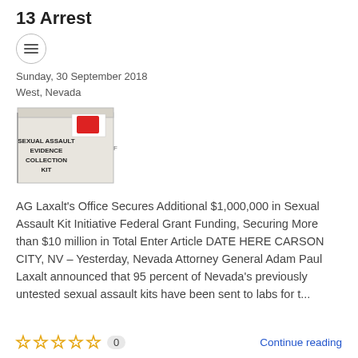13 Arrest
Sunday, 30 September 2018
West, Nevada
[Figure (photo): Sexual Assault Evidence Collection Kit box with red biohazard label]
AG Laxalt’s Office Secures Additional $1,000,000 in Sexual Assault Kit Initiative Federal Grant Funding, Securing More than $10 million in Total Enter Article DATE HERE CARSON CITY, NV – Yesterday, Nevada Attorney General Adam Paul Laxalt announced that 95 percent of Nevada's previously untested sexual assault kits have been sent to labs for t...
0
Continue reading